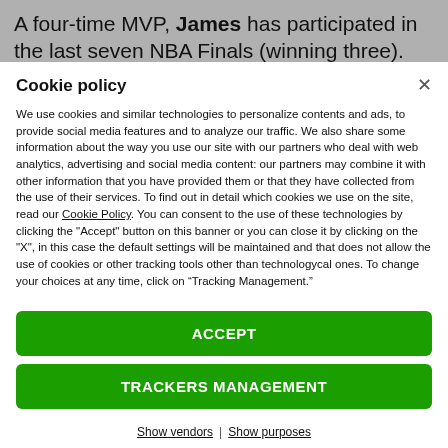A four-time MVP, James has participated in the last seven NBA Finals (winning three). Largely
Cookie policy
We use cookies and similar technologies to personalize contents and ads, to provide social media features and to analyze our traffic. We also share some information about the way you use our site with our partners who deal with web analytics, advertising and social media content: our partners may combine it with other information that you have provided them or that they have collected from the use of their services. To find out in detail which cookies we use on the site, read our Cookie Policy. You can consent to the use of these technologies by clicking the "Accept" button on this banner or you can close it by clicking on the "X", in this case the default settings will be maintained and that does not allow the use of cookies or other tracking tools other than technologycal ones. To change your choices at any time, click on “Tracking Management.”
ACCEPT
TRACKERS MANAGEMENT
Show vendors | Show purposes